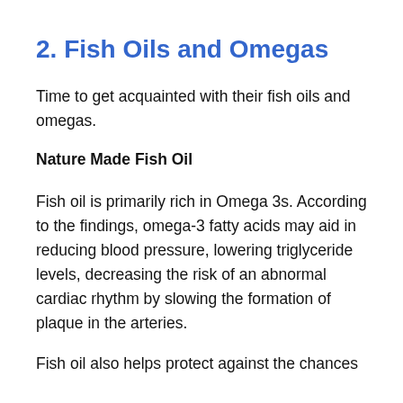2. Fish Oils and Omegas
Time to get acquainted with their fish oils and omegas.
Nature Made Fish Oil
Fish oil is primarily rich in Omega 3s. According to the findings, omega-3 fatty acids may aid in reducing blood pressure, lowering triglyceride levels, decreasing the risk of an abnormal cardiac rhythm by slowing the formation of plaque in the arteries.
Fish oil also helps protect against the chances